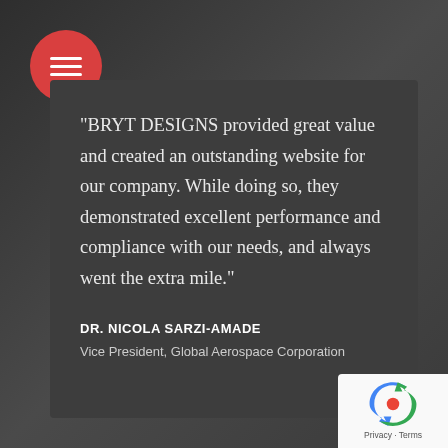[Figure (other): Red circular hamburger menu button with three white horizontal lines]
"BRYT DESIGNS provided great value and created an outstanding website for our company. While doing so, they demonstrated excellent performance and compliance with our needs, and always went the extra mile."
DR. NICOLA SARZI-AMADE
Vice President, Global Aerospace Corporation
[Figure (logo): Google reCAPTCHA badge with Privacy and Terms links]